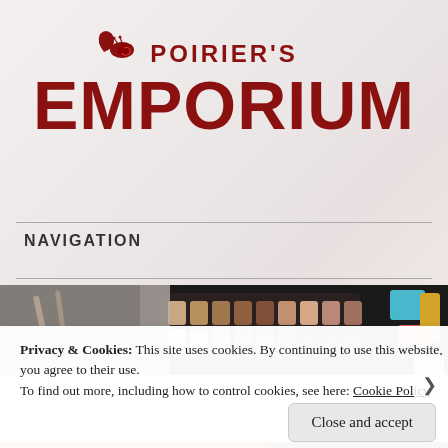[Figure (logo): Poirier's Emporium logo in dark red with snail icon, large serif/sans-serif bold text]
NAVIGATION
[Figure (photo): Overhead photo of makeup eyeshadow palette with brushes and colorful cosmetics]
Privacy & Cookies: This site uses cookies. By continuing to use this website, you agree to their use.
To find out more, including how to control cookies, see here: Cookie Policy
Close and accept